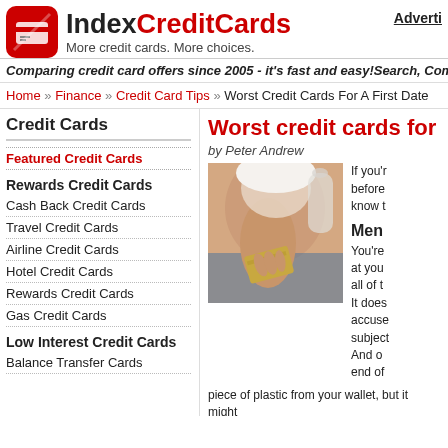[Figure (logo): IndexCreditCards logo with red icon and tagline 'More credit cards. More choices.']
Adverti
Comparing credit card offers since 2005 - it's fast and easy!Search, Compare a
Home » Finance » Credit Card Tips » Worst Credit Cards For A First Date
Credit Cards
Featured Credit Cards
Rewards Credit Cards
Cash Back Credit Cards
Travel Credit Cards
Airline Credit Cards
Hotel Credit Cards
Rewards Credit Cards
Gas Credit Cards
Low Interest Credit Cards
Balance Transfer Cards
Worst credit cards for a firs
by Peter Andrew
[Figure (photo): Woman holding a credit card]
If you'... before... know t...
Men
You're... at you... all of t... It does... accuse... subject... And o... end of...
piece of plastic from your wallet, but it might... time together. If you didn't bother to elicit her
Rew... credit... the...